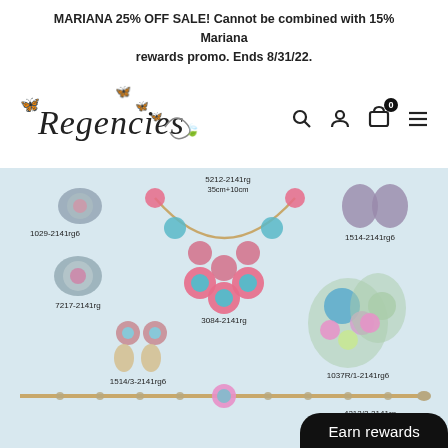MARIANA 25% OFF SALE! Cannot be combined with 15% Mariana rewards promo. Ends 8/31/22.
[Figure (logo): Regencies jewelry store logo with butterfly decorations and script text]
[Figure (photo): Mariana jewelry collection including necklace (5212-2141rg 35cm+10cm), brooch (1029-2141rg6), ring (7217-2141rg), earrings (1514/3-2141rg6), necklace center (3084-2141rg), stud earrings (1514-2141rg6), large earrings (1037R/1-2141rg6), and bracelet (4212/2-2141rg) on a light blue background]
Earn rewards